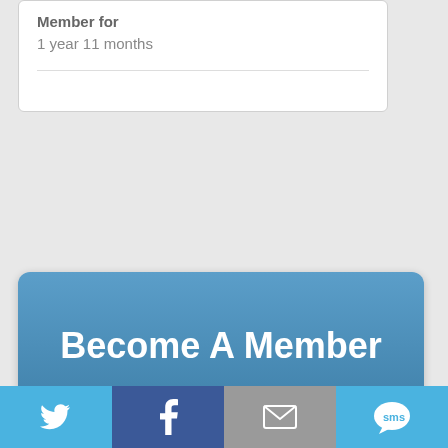Member for
1 year 11 months
Become A Member
FOLLOW WISCOMMUNITY ON:
[Figure (illustration): Four social media icon buttons: RSS (orange), Facebook (blue), Twitter (light blue), YouTube (red-orange)]
WIS.COMMUNITY NEWSLETTER
[Figure (illustration): Bottom share bar with four sections: Twitter (light blue with bird icon), Facebook (dark blue with f icon), Email (gray with envelope icon), SMS (light blue with SMS speech bubble icon)]